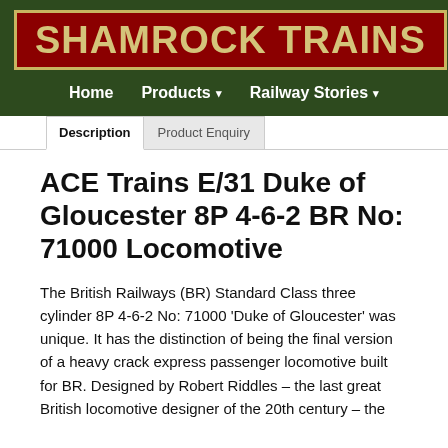[Figure (logo): Shamrock Trains logo: dark green background with red rectangle bordered in gold containing the text 'SHAMROCK TRAINS' in large gold letters]
Home   Products ▾   Railway Stories ▾
Description   Product Enquiry
ACE Trains E/31 Duke of Gloucester 8P 4-6-2 BR No: 71000 Locomotive
The British Railways (BR) Standard Class three cylinder 8P 4-6-2 No: 71000 'Duke of Gloucester' was unique. It has the distinction of being the final version of a heavy crack express passenger locomotive built for BR. Designed by Robert Riddles – the last great British locomotive designer of the 20th century – the